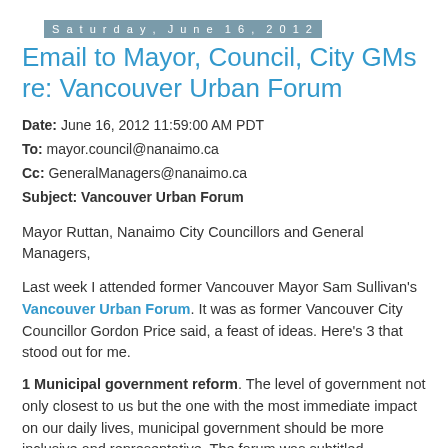Saturday, June 16, 2012
Email to Mayor, Council, City GMs re: Vancouver Urban Forum
Date: June 16, 2012 11:59:00 AM PDT
To: mayor.council@nanaimo.ca
Cc: GeneralManagers@nanaimo.ca
Subject: Vancouver Urban Forum
Mayor Ruttan, Nanaimo City Councillors and General Managers,
Last week I attended former Vancouver Mayor Sam Sullivan's Vancouver Urban Forum. It was as former Vancouver City Councillor Gordon Price said, a feast of ideas. Here's 3 that stood out for me.
1 Municipal government reform. The level of government not only closest to us but the one with the most immediate impact on our daily lives, municipal government should be more inclusive and representative. The forum was subtitled